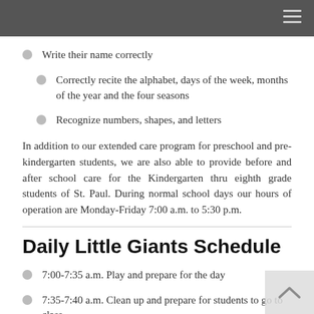Write their name correctly
Correctly recite the alphabet, days of the week, months of the year and the four seasons
Recognize numbers, shapes, and letters
In addition to our extended care program for preschool and pre-kindergarten students, we are also able to provide before and after school care for the Kindergarten thru eighth grade students of St. Paul. During normal school days our hours of operation are Monday-Friday 7:00 a.m. to 5:30 p.m.
Daily Little Giants Schedule
7:00-7:35 a.m. Play and prepare for the day
7:35-7:40 a.m. Clean up and prepare for students to go to class